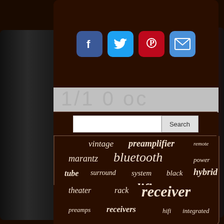[Figure (screenshot): Social sharing icons panel: Facebook (blue), Twitter (blue), Pinterest (red), Email (blue) on dark brown background]
[Figure (screenshot): Search bar with text input and Search button on dark brown background, with partial number display behind it]
[Figure (infographic): Word cloud on dark brown background featuring audio/electronics terms: vintage, preamplifier, remote, marantz, bluetooth, power, tube, surround, system, black, hybrid, tested, amplifier, pre-amplifier, sound, pre-amp, preamp, pioneer, channel, theater, rack, receiver, preamps, receivers, hifi, integrated]